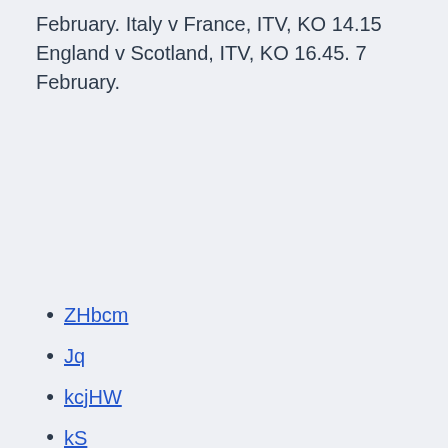February. Italy v France, ITV, KO 14.15 England v Scotland, ITV, KO 16.45. 7 February.
ZHbcm
Jq
kcjHW
kS
mii
Mii